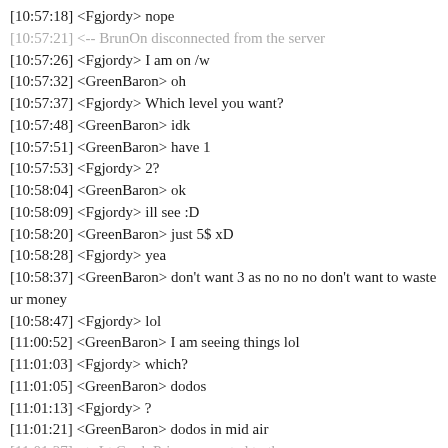[10:57:18] <Fgjordy> nope
[10:57:21] <-- BrunOn disconnected from the server
[10:57:26] <Fgjordy> I am on /w
[10:57:32] <GreenBaron> oh
[10:57:37] <Fgjordy> Which level you want?
[10:57:48] <GreenBaron> idk
[10:57:51] <GreenBaron> have 1
[10:57:53] <Fgjordy> 2?
[10:58:04] <GreenBaron> ok
[10:58:09] <Fgjordy> ill see :D
[10:58:20] <GreenBaron> just 5$ xD
[10:58:28] <Fgjordy> yea
[10:58:37] <GreenBaron> don't want 3 as no no no don't want to waste ur money
[10:58:47] <Fgjordy> lol
[11:00:52] <GreenBaron> I am seeing things lol
[11:01:03] <Fgjordy> which?
[11:01:05] <GreenBaron> dodos
[11:01:13] <Fgjordy> ?
[11:01:21] <GreenBaron> dodos in mid air
[11:01:27] --> Lt.Cmdr.Price connected to the server
[11:01:27] <Fgjordy> was paused.
[11:01:30] <GreenBaron> oh
[11:01:32] <Fgjordy> tabbed
[11:01:32] <GreenBaron> wb